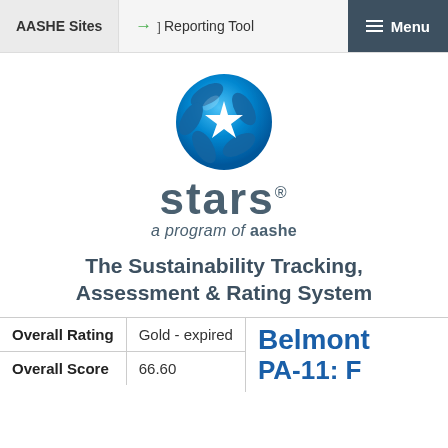AASHE Sites | → Reporting Tool | Menu
[Figure (logo): STARS logo — blue swirling sphere with white star, text 'stars®' and 'a program of aashe' below]
The Sustainability Tracking, Assessment & Rating System
| Overall Rating | Gold - expired |
| Overall Score | 66.60 |
Belmont PA-11: F